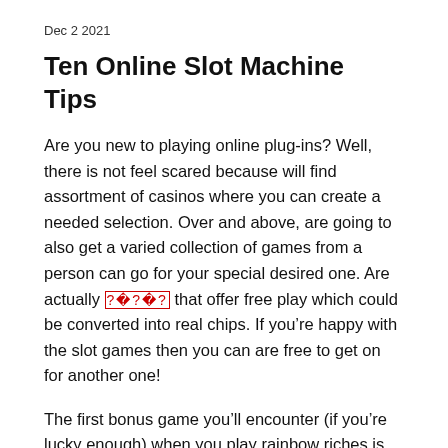Dec 2 2021
Ten Online Slot Machine Tips
Are you new to playing online plug-ins? Well, there is not feel scared because will find assortment of casinos where you can create a needed selection. Over and above, are going to also get a varied collection of games from a person can go for your special desired one. Are actually [????] that offer free play which could be converted into real chips. If you’re happy with the slot games then you can are free to get on for another one!
The first bonus game you’ll encounter (if you’re lucky enough) when you play rainbow riches is addressed Roads to Riches. It consists from the spinning wheel that reveals your progress in activity is. If you get three or more leprechaun symbols on your screen, it initiates the bonus lvl. The appearance of three a lot more well symbols starts